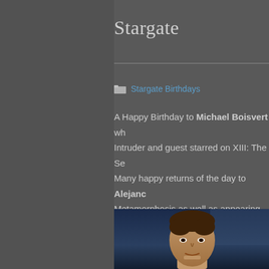Stargate
Stargate Birthdays
A Happy Birthday to Michael Boisvert who played the Intruder and guest starred on XIII: The Se... Many happy returns of the day to Alejand... Metamorphosis as well as appearing on S...
[Figure (photo): Headshot photo of a man with short brown hair against a dark blue background]